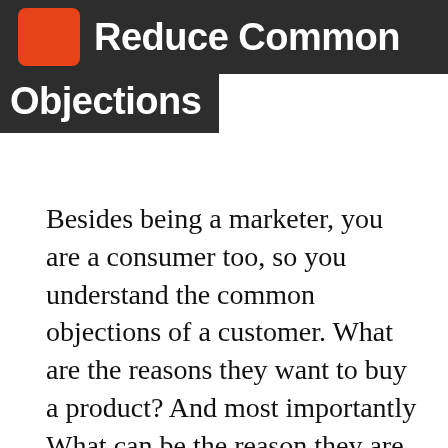Reduce Common Objections
Besides being a marketer, you are a consumer too, so you understand the common objections of a customer. What are the reasons they want to buy a product? And most importantly What can be the reason they are not buying it now? Bulls Eye! you can acknowledge those objections right upfront through exit popups. The common objections that a consumer faces are – Limited Funds, Perceived worth of the product,